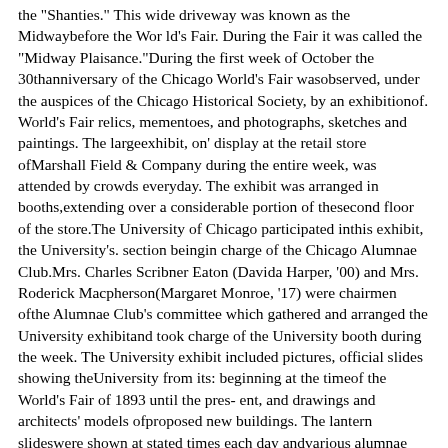the "Shanties." This wide driveway was known as the Midwaybefore the Wor ld's Fair. During the Fair it was called the "Midway Plaisance."During the first week of October the 30thanniversary of the Chicago World's Fair wasobserved, under the auspices of the Chicago Historical Society, by an exhibitionof. World's Fair relics, mementoes, and photographs, sketches and paintings. The largeexhibit, on' display at the retail store ofMarshall Field & Company during the entire week, was attended by crowds everyday. The exhibit was arranged in booths,extending over a considerable portion of thesecond floor of the store.The University of Chicago participated inthis exhibit, the University's. section beingin charge of the Chicago Alumnae Club.Mrs. Charles Scribner Eaton (Davida Harper, '00) and Mrs. Roderick Macpherson(Margaret Monroe, '17) were chairmen ofthe Alumnae Club's committee which gathered and arranged the University exhibitand took charge of the University booth during the week. The University exhibit included pictures, official slides showing theUniversity from its: beginning at the timeof the World's Fair of 1893 until the pres- ent, and drawings and architects' models ofproposed new buildings. The lantern slideswere shown at stated times each day andvarious alumnae took turns in telling theaudiences about the buildings and growthof the University as thus illustrated. Manyalumni attended the exhibit..Among' the World's Fair pictures on display was the one shown above. The picture shows the "Egyptian" section of thefamous Midway